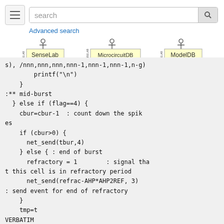search | Advanced search | SenseLab | MicrocircuitDB | ModelDB
[Figure (screenshot): Navigation header with hamburger menu, search bar with search button, 'Advanced search' link, and three logos: SenseLab, MicrocircuitDB, ModelDB]
s), /nnn,nnn,nnn,nnn-1,nnn-1,nnn-1,n-g)
    printf("\n")
  }
:** mid-burst
  } else if (flag==4) {
    cbur=cbur-1  : count down the spikes
    if (cbur>0) {
      net_send(tbur,4)
    } else { : end of burst
      refractory = 1        : signal that this cell is in refractory period
      net_send(refrac-AHP*AHP2REF, 3)
: send event for end of refractory
    }
    tmp=t
VERBATIM
    if (ip->jttr)
ENDVERBATIM
{ tmp= t+jttr()/10 }